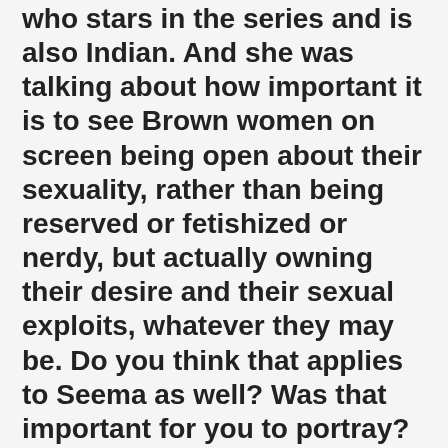who stars in the series and is also Indian. And she was talking about how important it is to see Brown women on screen being open about their sexuality, rather than being reserved or fetishized or nerdy, but actually owning their desire and their sexual exploits, whatever they may be. Do you think that applies to Seema as well? Was that important for you to portray?
I think it does, definitely, but I think also that's why showing the family was important. On one hand, she is being free in her life, but also, I wanted to address that when you do have an Indian family, you can't push their freedom too much in their house or their faith because there's also the honor and respect [component]. And I feel